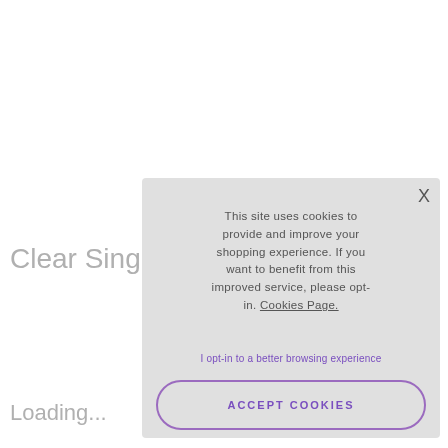Clear Sing
This site uses cookies to provide and improve your shopping experience. If you want to benefit from this improved service, please opt-in. Cookies Page.
I opt-in to a better browsing experience
ACCEPT COOKIES
Loading...